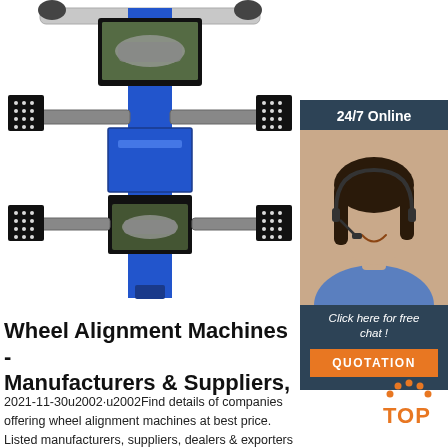[Figure (photo): Wheel alignment machine with two monitors showing a car, blue central column, and sensor arms with calibration targets on each side, viewed from front/top angle.]
[Figure (photo): Customer service agent advertisement panel: '24/7 Online' header, photo of smiling woman with headset, 'Click here for free chat!' text, and orange QUOTATION button.]
Wheel Alignment Machines - Manufacturers & Suppliers,
2021-11-30u2002·u2002Find details of companies offering wheel alignment machines at best price. Listed manufacturers, suppliers, dealers & exporters are offering best
[Figure (logo): Orange dotted arc 'TOP' logo in bottom right area]